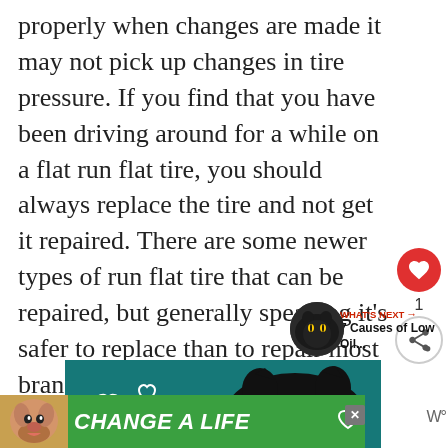properly when changes are made it may not pick up changes in tire pressure. If you find that you have been driving around for a while on a flat run flat tire, you should always replace the tire and not get it repaired. There are some newer types of run flat tire that can be repaired, but generally speaking it’s safer to replace than to repair most brands.
[Figure (screenshot): Social media sidebar with heart (like) button in red circle showing count of 1, and a share button below it]
[Figure (screenshot): What's Next panel with thumbnail image of a cat and text '7 Causes of Low Oil...']
[Figure (photo): Dark teal background with a black cat silhouette and heart outline decorations]
[Figure (infographic): Green advertisement banner with a dog photo on the left and bold italic text 'CHANGE A LIFE' with a heart outline icon and an X close button]